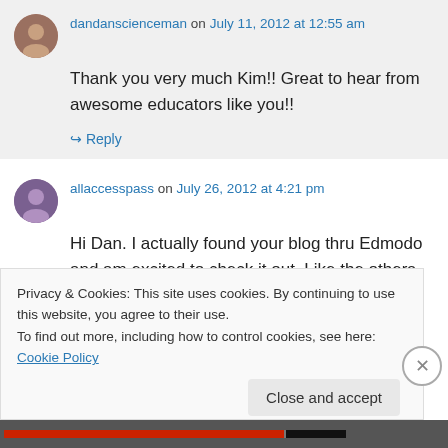dandanscienceman on July 11, 2012 at 12:55 am
Thank you very much Kim!! Great to hear from awesome educators like you!!
↪ Reply
allaccesspass on July 26, 2012 at 4:21 pm
Hi Dan. I actually found your blog thru Edmodo and am excited to check it out. Like the others
Privacy & Cookies: This site uses cookies. By continuing to use this website, you agree to their use.
To find out more, including how to control cookies, see here: Cookie Policy
Close and accept